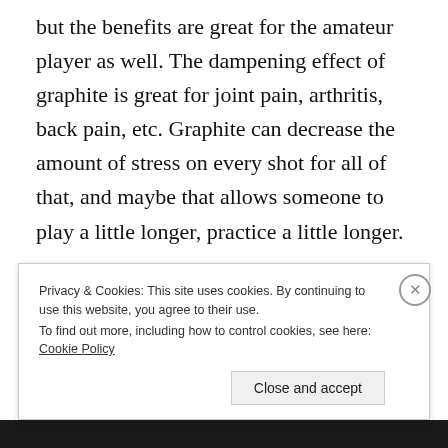but the benefits are great for the amateur player as well. The dampening effect of graphite is great for joint pain, arthritis, back pain, etc. Graphite can decrease the amount of stress on every shot for all of that, and maybe that allows someone to play a little longer, practice a little longer.
The stigma of inconsistency graphite used to have is gone. It's miles beyond and really where amateurs
Privacy & Cookies: This site uses cookies. By continuing to use this website, you agree to their use.
To find out more, including how to control cookies, see here: Cookie Policy